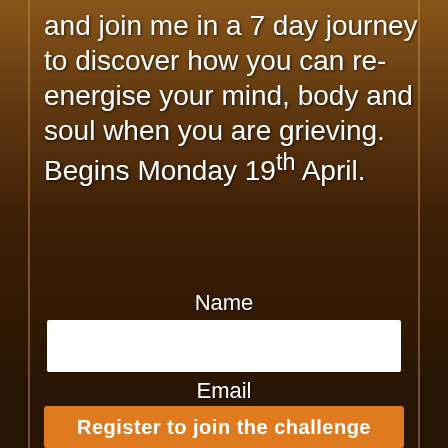and join me in a 7 day journey to discover how you can re-energise your mind, body and soul when you are grieving.
Begins Monday 19th April.
Name
Email
Register to join the challenge